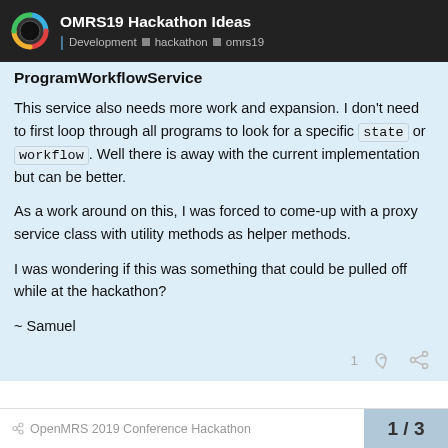OMRS19 Hackathon Ideas — Development · hackathon · omrs19
ProgramWorkflowService
This service also needs more work and expansion. I don't need to first loop through all programs to look for a specific state or workflow. Well there is away with the current implementation but can be better.
As a work around on this, I was forced to come-up with a proxy service class with utility methods as helper methods.
I was wondering if this was something that could be pulled off while at the hackathon?
~ Samuel
OpenMRS 2019 Conference Hackathon   1 / 3